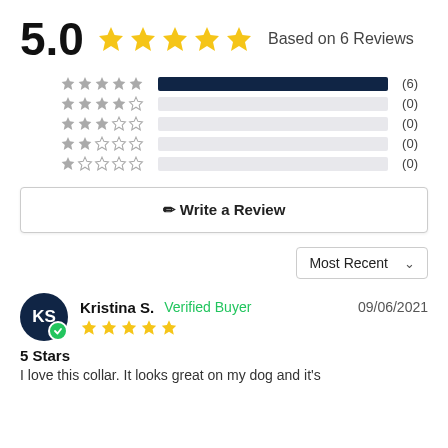5.0 ★★★★★ Based on 6 Reviews
[Figure (bar-chart): Rating breakdown]
✏ Write a Review
Most Recent ∨
Kristina S. Verified Buyer 09/06/2021 ★★★★★
5 Stars
I love this collar. It looks great on my dog and it's